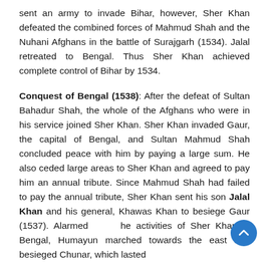sent an army to invade Bihar, however, Sher Khan defeated the combined forces of Mahmud Shah and the Nuhani Afghans in the battle of Surajgarh (1534). Jalal retreated to Bengal. Thus Sher Khan achieved complete control of Bihar by 1534.
Conquest of Bengal (1538): After the defeat of Sultan Bahadur Shah, the whole of the Afghans who were in his service joined Sher Khan. Sher Khan invaded Gaur, the capital of Bengal, and Sultan Mahmud Shah concluded peace with him by paying a large sum. He also ceded large areas to Sher Khan and agreed to pay him an annual tribute. Since Mahmud Shah had failed to pay the annual tribute, Sher Khan sent his son Jalal Khan and his general, Khawas Khan to besiege Gaur (1537). Alarmed the activities of Sher Khan in Bengal, Humayun marched towards the east and besieged Chunar, which lasted